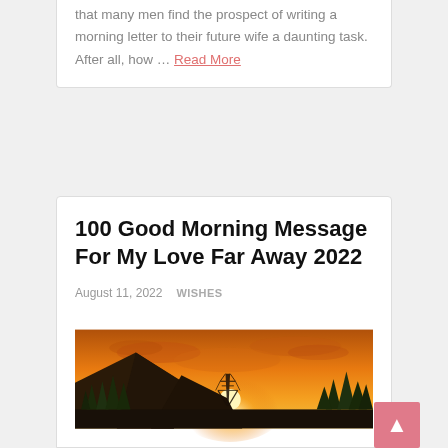that many men find the prospect of writing a morning letter to their future wife a daunting task. After all, how ... Read More
100 Good Morning Message For My Love Far Away 2022
August 11, 2022   WISHES
[Figure (photo): A scenic sunset photo showing orange sky, silhouetted mountains, trees, and a power transmission tower]